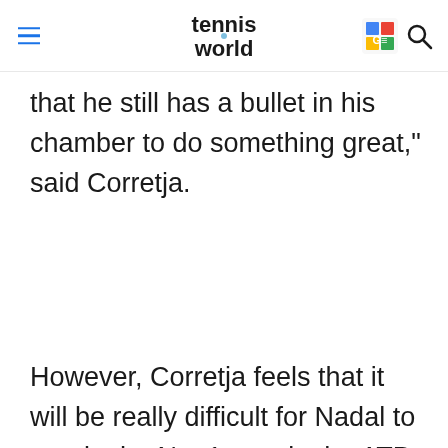Tennis World
that he still has a bullet in his chamber to do something great," said Corretja.
However, Corretja feels that it will be really difficult for Nadal to regain the No. 1 spot in the ATP